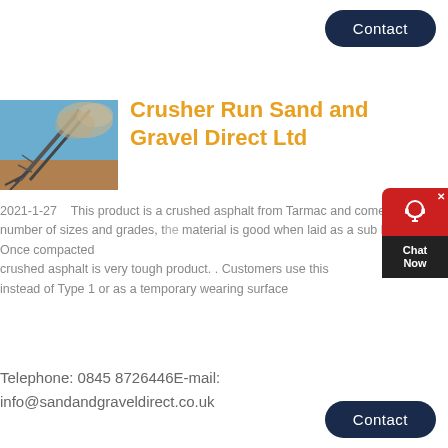Contact
[Figure (photo): Industrial crusher/conveyor equipment with dust cloud against blue sky]
Crusher Run Sand and Gravel Direct Ltd
2021-1-27   This product is a crushed asphalt from Tarmac and comes in a number of sizes and grades, the material is good when laid as a sub base. Once compacted crushed asphalt is very tough product. . Customers use this instead of Type 1 or as a temporary wearing surface
Telephone: 0845 8726446E-mail: info@sandandgraveldirect.co.uk
Contact